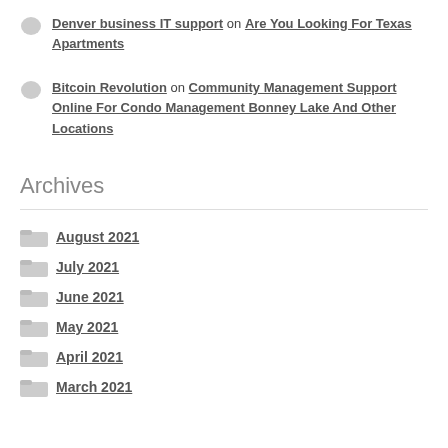Denver business IT support on Are You Looking For Texas Apartments
Bitcoin Revolution on Community Management Support Online For Condo Management Bonney Lake And Other Locations
Archives
August 2021
July 2021
June 2021
May 2021
April 2021
March 2021